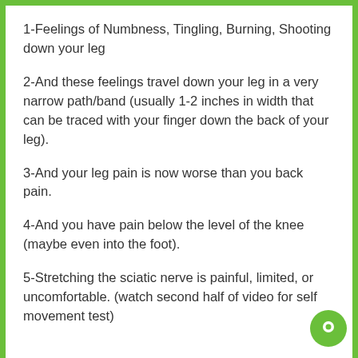1-Feelings of Numbness, Tingling, Burning, Shooting down your leg
2-And these feelings travel down your leg in a very narrow path/band (usually 1-2 inches in width that can be traced with your finger down the back of your leg).
3-And your leg pain is now worse than you back pain.
4-And you have pain below the level of the knee (maybe even into the foot).
5-Stretching the sciatic nerve is painful, limited, or uncomfortable. (watch second half of video for self movement test)